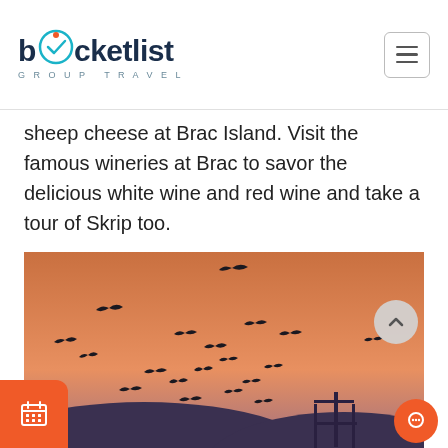bucketlist GROUP TRAVEL
sheep cheese at Brac Island. Visit the famous wineries at Brac to savor the delicious white wine and red wine and take a tour of Skrip too.
[Figure (photo): Sunset photo with orange sky and silhouettes of many birds in flight, with dark hills and a structure/crane visible at the bottom right.]